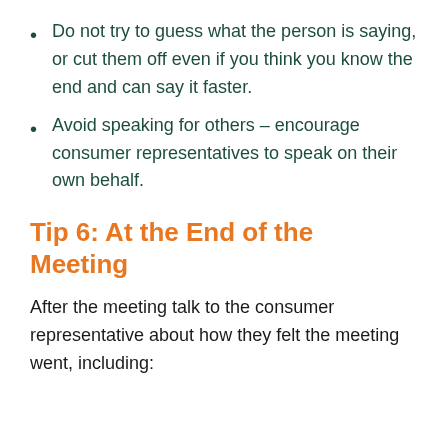Do not try to guess what the person is saying, or cut them off even if you think you know the end and can say it faster.
Avoid speaking for others – encourage consumer representatives to speak on their own behalf.
Tip 6: At the End of the Meeting
After the meeting talk to the consumer representative about how they felt the meeting went, including: